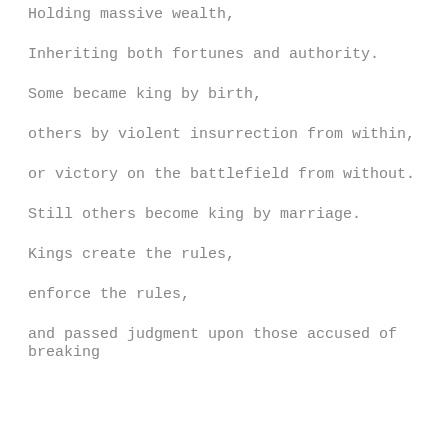Holding massive wealth,
Inheriting both fortunes and authority.
Some became king by birth,
others by violent insurrection from within,
or victory on the battlefield from without.
Still others become king by marriage.
Kings create the rules,
enforce the rules,
and passed judgment upon those accused of breaking